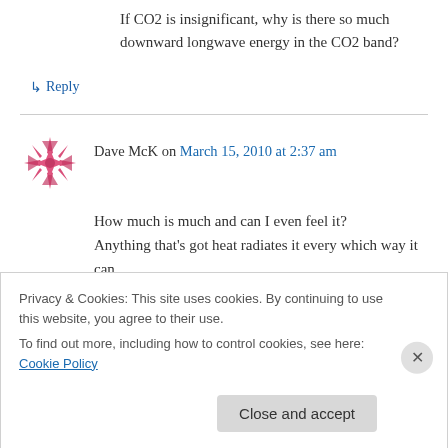If CO2 is insignificant, why is there so much downward longwave energy in the CO2 band?
↳ Reply
Dave McK on March 15, 2010 at 2:37 am
How much is much and can I even feel it? Anything that's got heat radiates it every which way it can. Measure your heat. Do it on a cloudy night. Do it
Privacy & Cookies: This site uses cookies. By continuing to use this website, you agree to their use. To find out more, including how to control cookies, see here: Cookie Policy
Close and accept